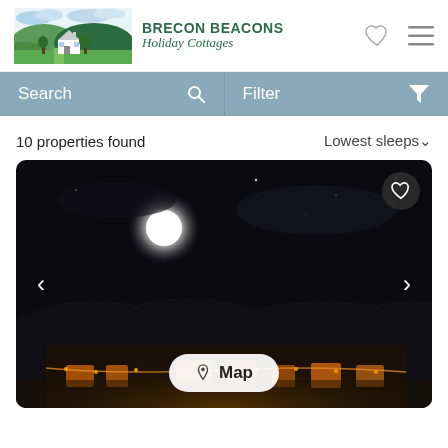[Figure (logo): Brecon Beacons Holiday Cottages logo with landscape illustration showing hills, sky and a cottage]
BRECON BEACONS Holiday Cottages
Search
Filter
10 properties found
Lowest sleeps∨
[Figure (photo): Night-time photograph of a stone holiday cottage building with exterior lights illuminated, a bright full moon in the dark sky above, and a 'Map' button overlay at the bottom center with navigation arrows on left and right sides]